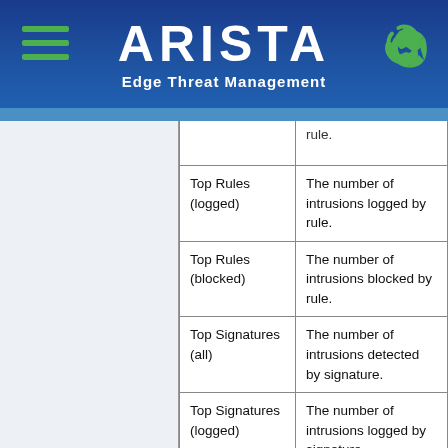ARISTA Edge Threat Management
| Top Rules (logged) | The number of intrusions logged by rule. |
| Top Rules (blocked) | The number of intrusions blocked by rule. |
| Top Signatures (all) | The number of intrusions detected by signature. |
| Top Signatures (logged) | The number of intrusions logged by signature. |
| Top Signatures (blocked) | The number of intrusions blocked by signature. |